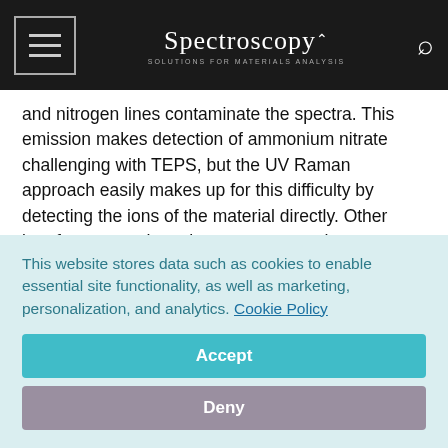Spectroscopy — Solutions for Materials Analysis
and nitrogen lines contaminate the spectra. This emission makes detection of ammonium nitrate challenging with TEPS, but the UV Raman approach easily makes up for this difficulty by detecting the ions of the material directly. Other interferents, such as those present on the interrogated surface, potentially can be ameliorated in a similar way.
Finally, multiwavelength UV Raman, though not as orthogonal as the TEPS and Raman configuration, can be considered a
This website stores data such as cookies to enable essential site functionality, as well as marketing, personalization, and analytics. Cookie Policy
Accept
Deny